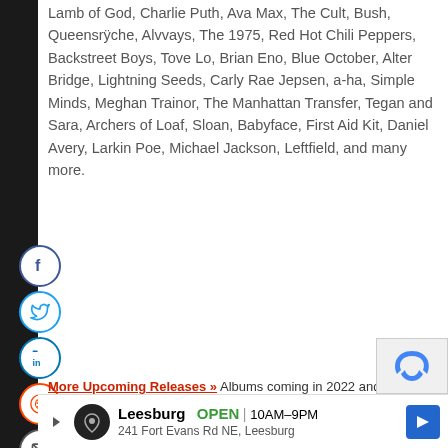Lamb of God, Charlie Puth, Ava Max, The Cult, Bush, Queensrÿche, Alvvays, The 1975, Red Hot Chili Peppers, Backstreet Boys, Tove Lo, Brian Eno, Blue October, Alter Bridge, Lightning Seeds, Carly Rae Jepsen, a-ha, Simple Minds, Meghan Trainor, The Manhattan Transfer, Tegan and Sara, Archers of Loaf, Sloan, Babyface, First Aid Kit, Daniel Avery, Larkin Poe, Michael Jackson, Leftfield, and many more.
[Figure (other): Social media share icons: Facebook, Twitter, LinkedIn, Reddit, Email — circular buttons on left sidebar]
More Upcoming Releases » Albums coming in 2022 and beyond
[Figure (other): Advertisement banner for Leesburg store: OPEN 10AM-9PM, 241 Fort Evans Rd NE, Leesburg]